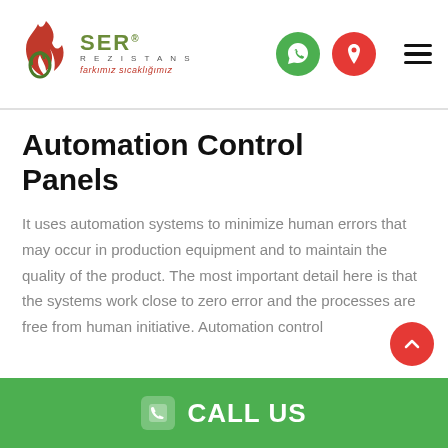[Figure (logo): SER Rezistans logo with flame icon, green SER text, 'REZISTANS' subtitle, and red italic slogan 'farkımız sıcaklığımız']
Automation Control Panels
It uses automation systems to minimize human errors that may occur in production equipment and to maintain the quality of the product. The most important detail here is that the systems work close to zero error and the processes are free from human initiative. Automation control
CALL US